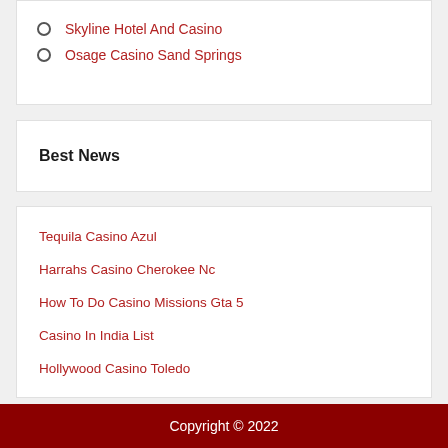Skyline Hotel And Casino
Osage Casino Sand Springs
Best News
Tequila Casino Azul
Harrahs Casino Cherokee Nc
How To Do Casino Missions Gta 5
Casino In India List
Hollywood Casino Toledo
Copyright © 2022